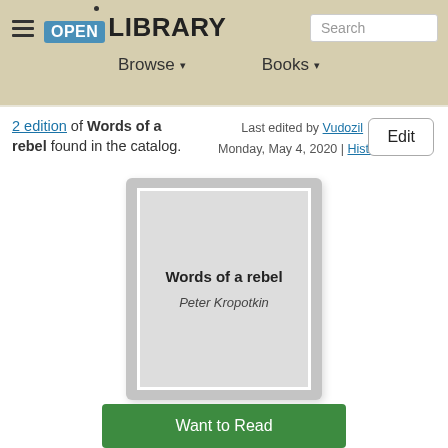[Figure (screenshot): Open Library website header with hamburger menu, OPEN LIBRARY logo, search box, Browse and Books navigation items]
2 edition of Words of a rebel found in the catalog.
Last edited by Vudozil
Monday, May 4, 2020 | History
Edit
[Figure (illustration): Book cover placeholder card showing 'Words of a rebel' by Peter Kropotkin on a grey background]
Want to Read